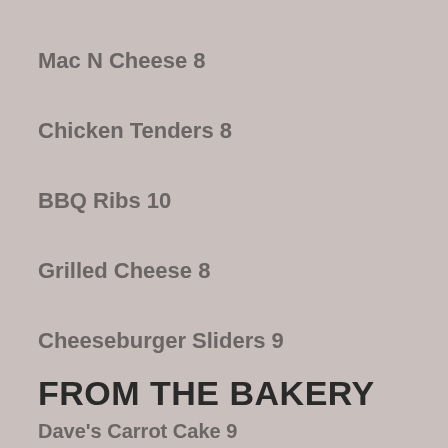Mac N Cheese 8
Chicken Tenders 8
BBQ Ribs 10
Grilled Cheese 8
Cheeseburger Sliders 9
FROM THE BAKERY
Dave's Carrot Cake 9